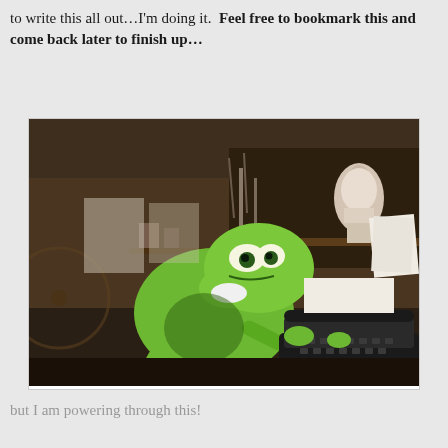to write this all out…I'm doing it.  Feel free to bookmark this and come back later to finish up…
[Figure (photo): Kermit the Frog puppet sitting at a typewriter in a cluttered room with shelves of objects, a white bust sculpture visible in the background. Kermit appears to be typing vigorously.]
but I am powering through this!